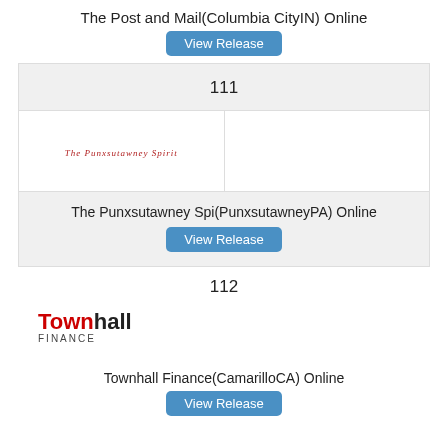The Post and Mail(Columbia CityIN) Online
View Release
111
[Figure (logo): The Punxsutawney Spirit logo in red italic text]
The Punxsutawney Spi(PunxsutawneyPA) Online
View Release
112
[Figure (logo): Townhall Finance logo with red 'Town' and black 'hall' on top line, 'FINANCE' in small gray caps below]
Townhall Finance(CamarilloCA) Online
View Release